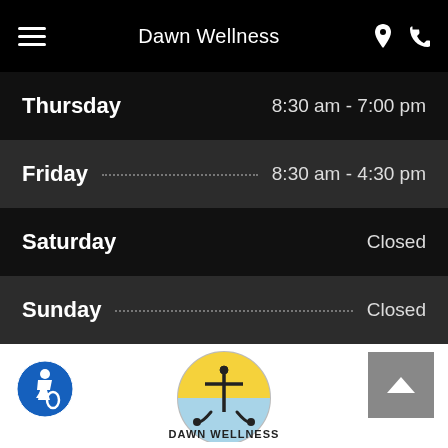Dawn Wellness
Thursday   8:30 am - 7:00 pm
Friday   8:30 am - 4:30 pm
Saturday   Closed
Sunday   Closed
[Figure (logo): Dawn Wellness integrative chiropractic center logo with anchor and sunburst in circle]
[Figure (illustration): Wheelchair accessibility icon — blue circle with white wheelchair user symbol]